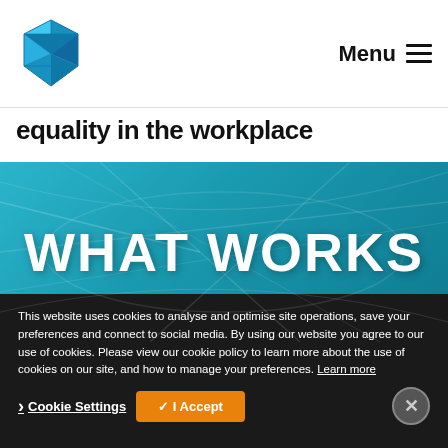Menu
equality in the workplace
[Figure (illustration): Teal/blue book cover with bold white text reading 'WHAT WORKS' and decorative geometric line patterns in background]
This website uses cookies to analyse and optimise site operations, save your preferences and connect to social media. By using our website you agree to our use of cookies. Please view our cookie policy to learn more about the use of cookies on our site, and how to manage your preferences. Learn more